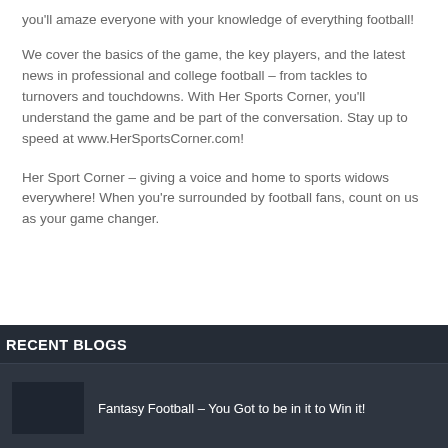you'll amaze everyone with your knowledge of everything football!
We cover the basics of the game, the key players, and the latest news in professional and college football – from tackles to turnovers and touchdowns. With Her Sports Corner, you'll understand the game and be part of the conversation. Stay up to speed at www.HerSportsCorner.com!
Her Sport Corner – giving a voice and home to sports widows everywhere! When you're surrounded by football fans, count on us as your game changer.
RECENT BLOGS
Fantasy Football – You Got to be in it to Win it!